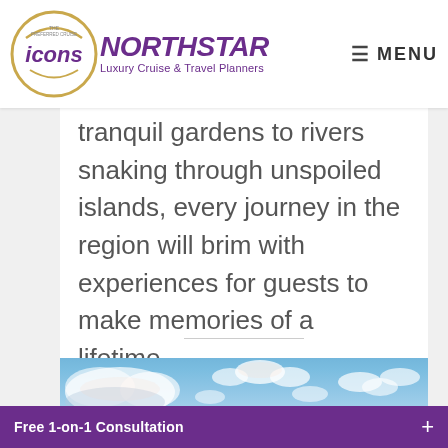NORTHSTAR Luxury Cruise & Travel Planners | MENU
tranquil gardens to rivers snaking through unspoiled islands, every journey in the region will brim with experiences for guests to make memories of a lifetime.
[Figure (photo): Blue sky with scattered white clouds over what appears to be a coastal or ocean scene]
Free 1-on-1 Consultation